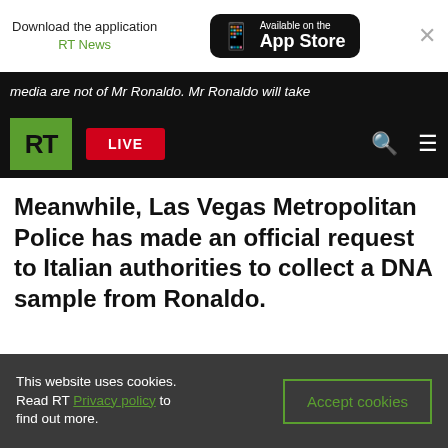[Figure (screenshot): App Store download banner with RT News label and Available on the App Store badge, plus close X button]
media are not of Mr Ronaldo. Mr Ronaldo will take
[Figure (logo): RT logo in green square with black text, LIVE red button, search and menu icons on black navigation bar]
Meanwhile, Las Vegas Metropolitan Police has made an official request to Italian authorities to collect a DNA sample from Ronaldo.
[Figure (other): Empty white content box with light grey border]
This website uses cookies. Read RT Privacy policy to find out more.